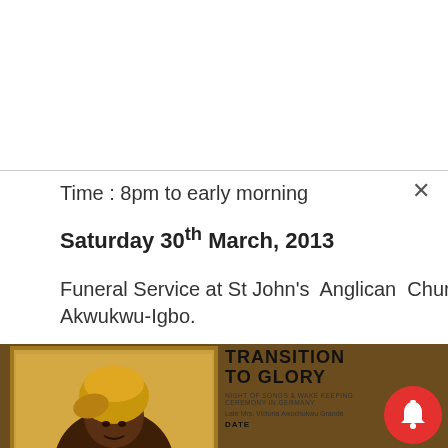Time : 8pm to early morning
Saturday 30th March, 2013
Funeral Service at St John's  Anglican  Church, Akwukwu-Igbo.
Time 10.am
[Figure (photo): Funeral announcement image showing a framed portrait of a woman in golden headwrap with text 'TRANSITION TO GLORY - Night of Songs & Wake Keeping Ceremony in Germany - Late Mrs. Victoria Awochukwu Grande - DATE' alongside a red notification bell icon]